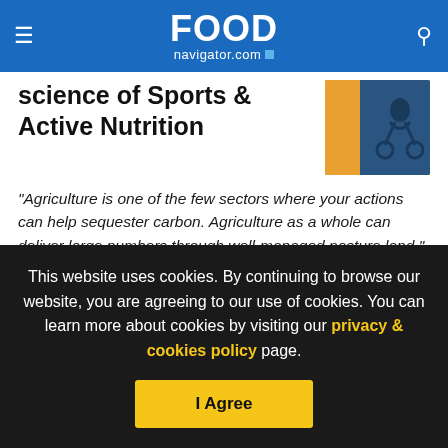FOODnavigator.com
science of Sports & Active Nutrition
“Agriculture is one of the few sectors where your actions can help sequester carbon. Agriculture as a whole can deliver large numbers through well-managed pasture land.”
Agriculture was the only sector to be specifically mentioned in the final agreement. In Article 2 of the accord, countries sign
This website uses cookies. By continuing to browse our website, you are agreeing to our use of cookies. You can learn more about cookies by visiting our privacy & cookies policy page.
I Agree